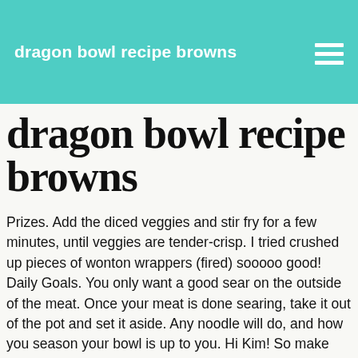dragon bowl recipe browns
dragon bowl recipe browns
Prizes. Add the diced veggies and stir fry for a few minutes, until veggies are tender-crisp. I tried crushed up pieces of wonton wrappers (fired) sooooo good! Daily Goals. You only want a good sear on the outside of the meat. Once your meat is done searing, take it out of the pot and set it aside. Any noodle will do, and how you season your bowl is up to you. Hi Kim! So make your next dinner a dinner in a bowl. In a medium bowl, mix the habanero and ghost peppers with